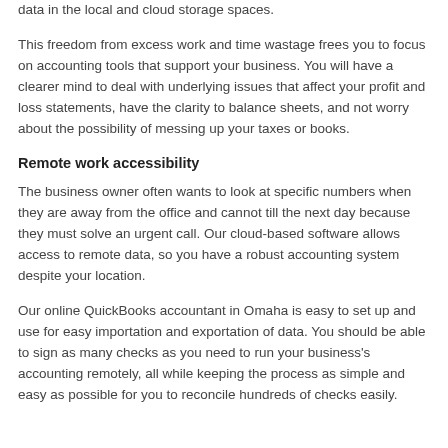data in the local and cloud storage spaces.
This freedom from excess work and time wastage frees you to focus on accounting tools that support your business. You will have a clearer mind to deal with underlying issues that affect your profit and loss statements, have the clarity to balance sheets, and not worry about the possibility of messing up your taxes or books.
Remote work accessibility
The business owner often wants to look at specific numbers when they are away from the office and cannot till the next day because they must solve an urgent call. Our cloud-based software allows access to remote data, so you have a robust accounting system despite your location.
Our online QuickBooks accountant in Omaha is easy to set up and use for easy importation and exportation of data. You should be able to sign as many checks as you need to run your business's accounting remotely, all while keeping the process as simple and easy as possible for you to reconcile hundreds of checks easily.